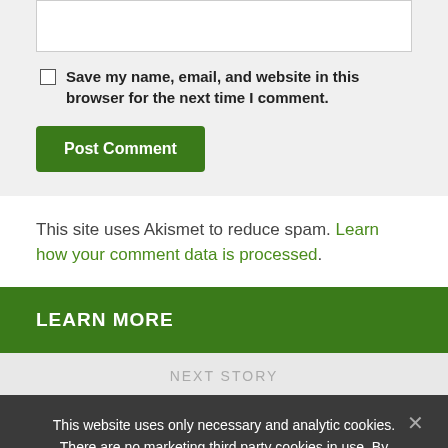[textarea/input box]
Save my name, email, and website in this browser for the next time I comment.
Post Comment
This site uses Akismet to reduce spam. Learn how your comment data is processed.
LEARN MORE
NEXT STORY
This website uses only necessary and analytic cookies. There are no marketing third party cookies in use. By continuing to use the website, you acknowledge that you agree.
I agree   Read more